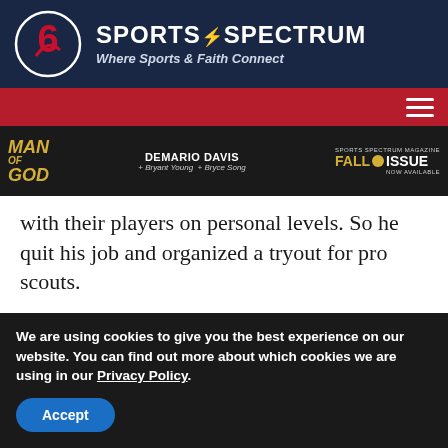[Figure (logo): Sports Spectrum logo with circular icon and text 'SPORTS SPECTRUM — Where Sports & Faith Connect' on dark navy background]
[Figure (screenshot): Sports Spectrum website navigation bar in red with hamburger menu icon on the right]
[Figure (screenshot): Banner advertisement: Man of God podcast featuring DeMario Davis with Sports Spectrum Magazine Fall Issue Now Available]
with their players on personal levels. So he quit his job and organized a tryout for pro scouts.
Within 10 minutes of the tryout ending, the Rockies showed interest.
We are using cookies to give you the best experience on our website. You can find out more about which cookies we are using in our Privacy Policy.
Accept